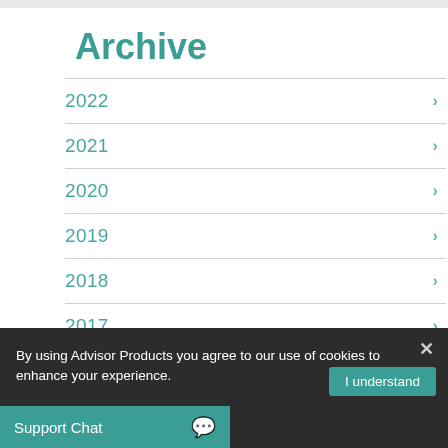Archive
2022
2021
2020
2019
2018
2017
By using Advisor Products you agree to our use of cookies to enhance your experience.
I understand
Support Chat